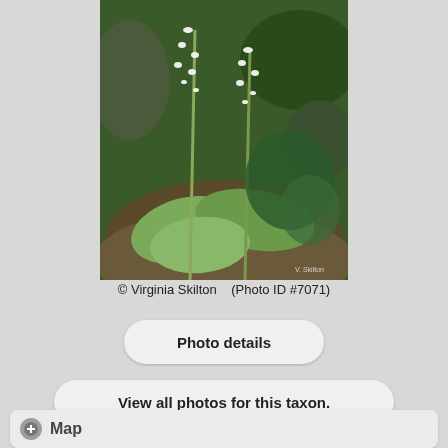[Figure (photo): Photograph of a plant with tall white flower spikes and broad basal leaves growing in a forest understory with green foliage background. Watermark 'V. Skilton' visible in lower right corner.]
© Virginia Skilton    (Photo ID #7071)
Photo details
View all photos for this taxon.
Map